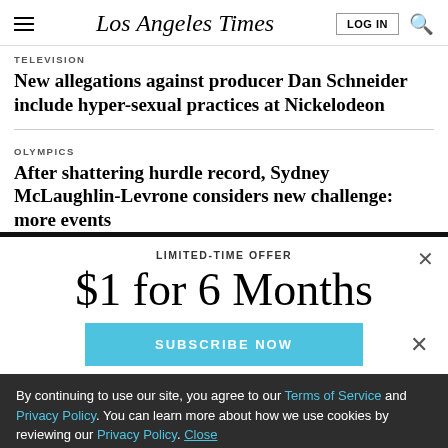Los Angeles Times
TELEVISION
New allegations against producer Dan Schneider include hyper-sexual practices at Nickelodeon
OLYMPICS
After shattering hurdle record, Sydney McLaughlin-Levrone considers new challenge: more events
LIMITED-TIME OFFER
$1 for 6 Months
SUBSCRIBE NOW
By continuing to use our site, you agree to our Terms of Service and Privacy Policy. You can learn more about how we use cookies by reviewing our Privacy Policy. Close